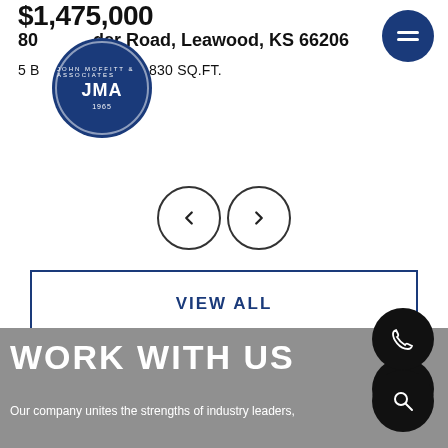$1,475,000
800 Lder Road, Leawood, KS 66206
5 BATHS | 3,830 SQ.FT.
[Figure (logo): JMA (John Moffitt & Associates) circular logo in dark blue with white text and inner ring border, established 1965]
[Figure (other): Dark blue circular hamburger menu button with three white horizontal lines]
[Figure (other): Two circular navigation arrows (left and right) with thin border outline]
VIEW ALL
[Figure (other): Black circular email icon button]
[Figure (other): Black circular phone icon button]
[Figure (other): Black circular search/magnify icon button]
WORK WITH US
Our company unites the strengths of industry leaders,